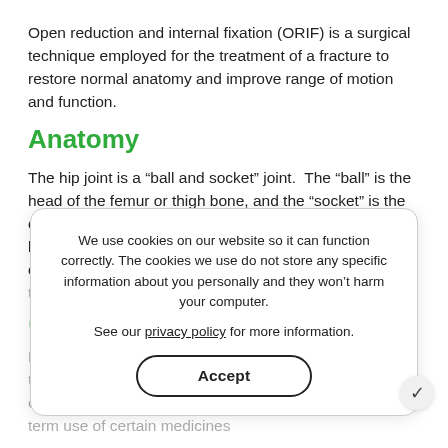Open reduction and internal fixation (ORIF) is a surgical technique employed for the treatment of a fracture to restore normal anatomy and improve range of motion and function.
Anatomy
The hip joint is a “ball and socket” joint. The “ball” is the head of the femur or thigh bone, and the “socket” is the cup-shaped acetabulum. It enables the upper leg to bend and rotate at the pelvis. The joint surface is covered by a smooth articular surface that allows pain-free movement in the joint.
Causes of Hip Fractures
Hip fractures are most frequently caused after minor trauma in elderly patients with weak bones and by high-energy trauma or serious injuries in the young. Long term use of certain medicines
We use cookies on our website so it can function correctly. The cookies we use do not store any specific information about you personally and they won’t harm your computer.

See our privacy policy for more information.